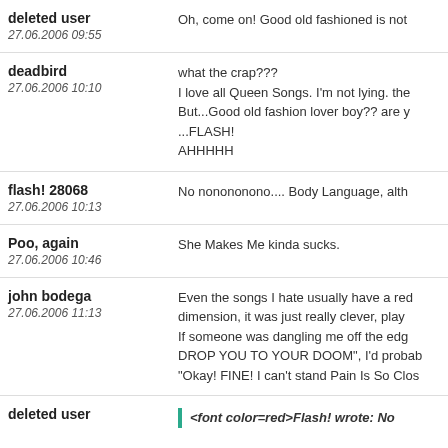deleted user
27.06.2006 09:55
Oh, come on! Good old fashioned is not
deadbird
27.06.2006 10:10
what the crap???
I love all Queen Songs. I'm not lying. the
But...Good old fashion lover boy?? are y
...FLASH!
AHHHHH
flash! 28068
27.06.2006 10:13
No nonononono.... Body Language, alth
Poo, again
27.06.2006 10:46
She Makes Me kinda sucks.
john bodega
27.06.2006 11:13
Even the songs I hate usually have a red
dimension, it was just really clever, play
If someone was dangling me off the edg
DROP YOU TO YOUR DOOM", I'd probab
"Okay! FINE! I can't stand Pain Is So Clos
deleted user
<font color=red>Flash! wrote: No